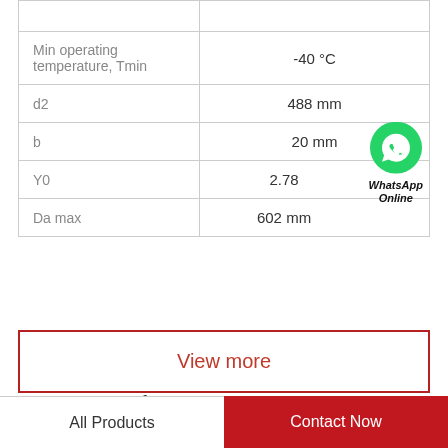| Parameter | Value |
| --- | --- |
| Min operating temperature, Tmin | -40 °C |
| d2 | 488 mm |
| b | 20 mm |
| Y0 | 2.78 |
| Da max | 602 mm |
View more
Company Profile
All Products
Contact Now